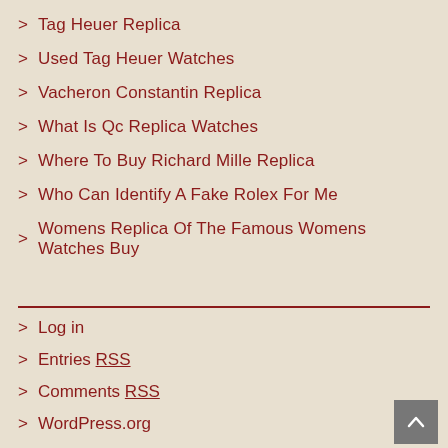> Tag Heuer Replica
> Used Tag Heuer Watches
> Vacheron Constantin Replica
> What Is Qc Replica Watches
> Where To Buy Richard Mille Replica
> Who Can Identify A Fake Rolex For Me
> Womens Replica Of The Famous Womens Watches Buy
> Log in
> Entries RSS
> Comments RSS
> WordPress.org